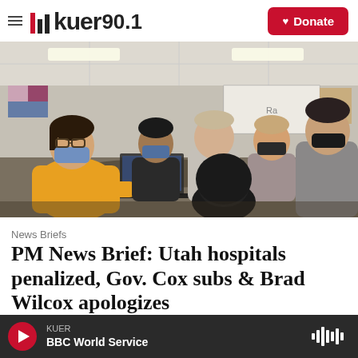KUER 90.1
[Figure (photo): Students and adults working together in a classroom, several wearing masks, gathered around tables with laptops open.]
News Briefs
PM News Brief: Utah hospitals penalized, Gov. Cox subs & Brad Wilcox apologizes
KUER — BBC World Service